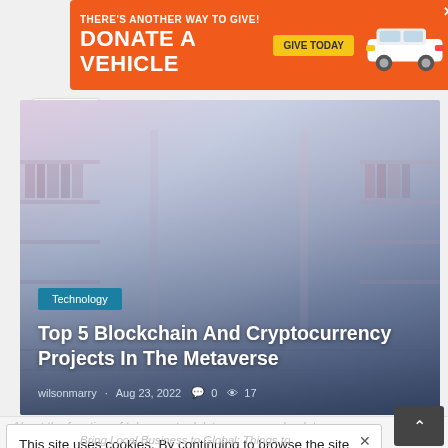[Figure (illustration): Orange advertisement banner: 'THERE'S ANOTHER WAY TO GIVE! DONATE A VEHICLE' with yellow GIVE TODAY button and white car illustration on orange background]
[Figure (illustration): Hero image showing a stylized metaverse/virtual library interior with shelves, in a blue-purple gradient color palette. Overlaid with category label 'Technology', article title 'Top 5 Blockchain And Cryptocurrency Projects In The Metaverse', and meta info 'wilsonmarry Aug 23, 2022 comment-icon 0 eye-icon 17']
Top 5 Blockchain And Cryptocurrency Projects In The Metaverse
wilsonmarry  Aug 23, 2022  0  17
This site uses cookies. By continuing to browse the site you are agreeing to our use of cookies.
About the function of telegram to delete messages by date
Bring Local Business to Global: Things to